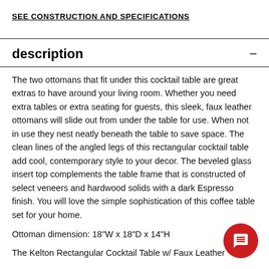SEE CONSTRUCTION AND SPECIFICATIONS
description
The two ottomans that fit under this cocktail table are great extras to have around your living room. Whether you need extra tables or extra seating for guests, this sleek, faux leather ottomans will slide out from under the table for use. When not in use they nest neatly beneath the table to save space. The clean lines of the angled legs of this rectangular cocktail table add cool, contemporary style to your decor. The beveled glass insert top complements the table frame that is constructed of select veneers and hardwood solids with a dark Espresso finish. You will love the simple sophistication of this coffee table set for your home.
Ottoman dimension: 18"W x 18"D x 14"H
The Kelton Rectangular Cocktail Table w/ Faux Leather Ottomans/Rectangular Storage Ottoman is/are/...